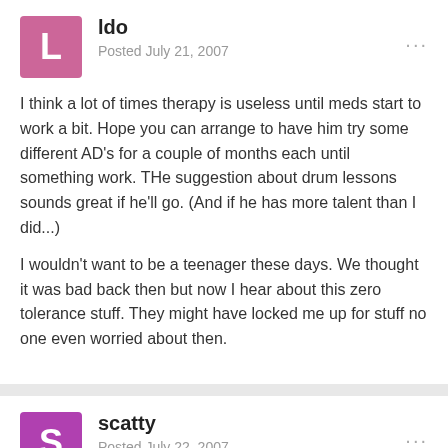ldo — Posted July 21, 2007
I think a lot of times therapy is useless until meds start to work a bit. Hope you can arrange to have him try some different AD's for a couple of months each until something work. THe suggestion about drum lessons sounds great if he'll go. (And if he has more talent than I did...)
I wouldn't want to be a teenager these days. We thought it was bad back then but now I hear about this zero tolerance stuff. They might have locked me up for stuff no one even worried about then.
scatty — Posted July 22, 2007
I was withdrawn at that age. Then again, being labled a sociopath because I was involved in some property damage